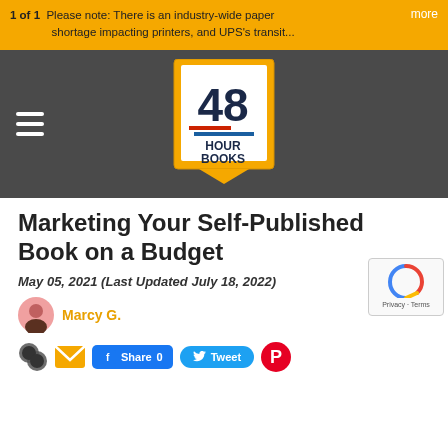1 of 1  Please note: There is an industry-wide paper shortage impacting printers, and UPS's transit...  more
[Figure (logo): 48 Hour Books logo — yellow book shape with '48' in large text, 'HOUR BOOKS' below, on a dark gray navigation bar background. Hamburger menu icon on left.]
Marketing Your Self-Published Book on a Budget
May 05, 2021 (Last Updated July 18, 2022)
Marcy G.
Share 0  Tweet